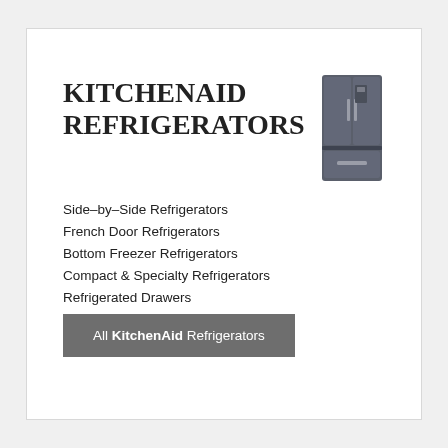KITCHENAID REFRIGERATORS
[Figure (illustration): Illustration of a dark gray KitchenAid French door refrigerator with bottom freezer drawer]
Side–by–Side Refrigerators
French Door Refrigerators
Bottom Freezer Refrigerators
Compact & Specialty Refrigerators
Refrigerated Drawers
Wine Coolers
All KitchenAid Refrigerators